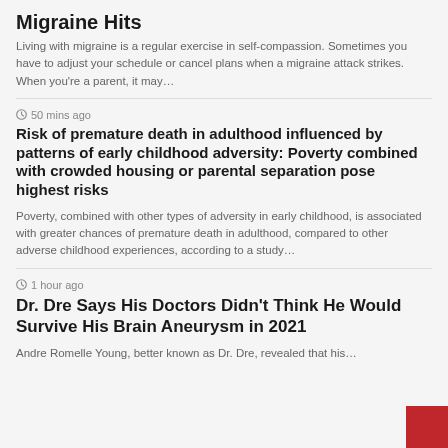Migraine Hits
Living with migraine is a regular exercise in self-compassion. Sometimes you have to adjust your schedule or cancel plans when a migraine attack strikes. When you're a parent, it may…
⏱ 50 mins ago
Risk of premature death in adulthood influenced by patterns of early childhood adversity: Poverty combined with crowded housing or parental separation pose highest risks
Poverty, combined with other types of adversity in early childhood, is associated with greater chances of premature death in adulthood, compared to other adverse childhood experiences, according to a study…
⏱ 1 hour ago
Dr. Dre Says His Doctors Didn't Think He Would Survive His Brain Aneurysm in 2021
Andre Romelle Young, better known as Dr. Dre, revealed that his…